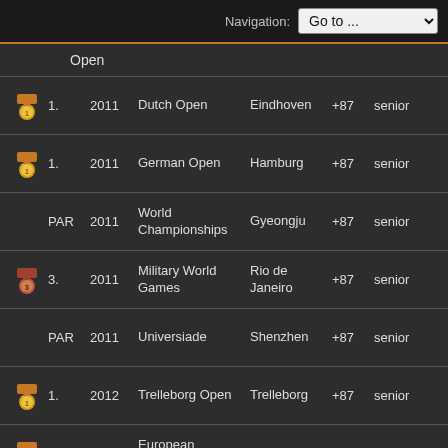Navigation: Go to ...
Open
| Medal | Place | Year | Event | Location | Score | Class |
| --- | --- | --- | --- | --- | --- | --- |
| gold | 1. | 2011 | Dutch Open | Eindhoven | +87 | senior |
| gold | 1. | 2011 | German Open | Hamburg | +87 | senior |
|  | PAR | 2011 | World Championships | Gyeongju | +87 | senior |
| bronze | 3. | 2011 | Military World Games | Rio de Janeiro | +87 | senior |
|  | PAR | 2011 | Universiade | Shenzhen | +87 | senior |
| gold | 1. | 2012 | Trelleborg Open | Trelleborg | +87 | senior |
| gold | 1. | 2012 | European Championships | Manchester | +87 | senior |